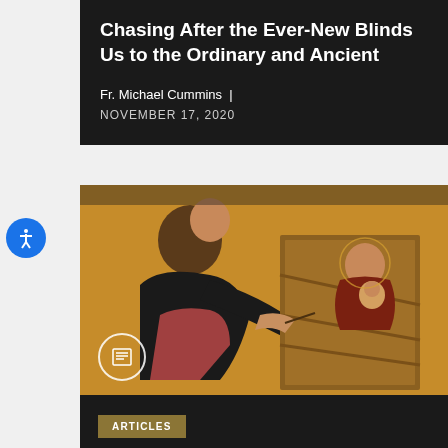Chasing After the Ever-New Blinds Us to the Ordinary and Ancient
Fr. Michael Cummins | NOVEMBER 17, 2020
[Figure (illustration): Byzantine-style icon painting showing a figure (Saint Luke) painting an icon of the Virgin Mary and Christ Child. The painting has warm golden-brown and dark tones typical of medieval iconography.]
ARTICLES
Saint Luke, the Artist